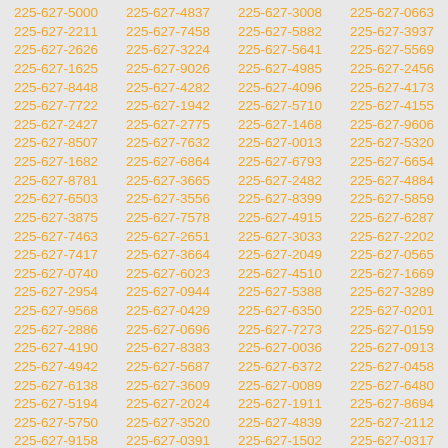225-627-5000 225-627-4837 225-627-3008 225-627-0663 225-627-2211 225-627-7458 225-627-5882 225-627-3937 225-627-2626 225-627-3224 225-627-5641 225-627-5569 225-627-1625 225-627-9026 225-627-4985 225-627-2456 225-627-8448 225-627-4282 225-627-4096 225-627-4173 225-627-7722 225-627-1942 225-627-5710 225-627-4155 225-627-2427 225-627-2775 225-627-1468 225-627-9606 225-627-8507 225-627-7632 225-627-0013 225-627-5320 225-627-1682 225-627-6864 225-627-6793 225-627-6654 225-627-8781 225-627-3665 225-627-2482 225-627-4884 225-627-6503 225-627-3556 225-627-8399 225-627-5859 225-627-3875 225-627-7578 225-627-4915 225-627-6287 225-627-7463 225-627-2651 225-627-3033 225-627-2202 225-627-7417 225-627-3664 225-627-2049 225-627-0565 225-627-0740 225-627-6023 225-627-4510 225-627-1669 225-627-2954 225-627-0944 225-627-5388 225-627-3289 225-627-9568 225-627-0429 225-627-6350 225-627-0201 225-627-2886 225-627-0696 225-627-7273 225-627-0159 225-627-4190 225-627-8383 225-627-0036 225-627-0913 225-627-4942 225-627-5687 225-627-6372 225-627-0458 225-627-6138 225-627-3609 225-627-0089 225-627-6480 225-627-5194 225-627-2024 225-627-1911 225-627-8694 225-627-5750 225-627-3520 225-627-4839 225-627-2112 225-627-9158 225-627-0391 225-627-1502 225-627-0317 225-627-8178 225-627-0679 225-627-4673 225-627-0151 225-627-4734 225-627-9862 225-627-2565 225-627-2602 225-627-4609 225-627-3638 225-627-4126 225-627-9676 225-627-2610 225-627-8753 225-627-4973 225-627-9105 225-627-6839 225-627-1401 225-627-4353 225-627-0847 225-627-6909 225-627-8051 225-627-4446 225-627-7602 225-627-5272 225-627-0244 225-627-8528 225-627-5502